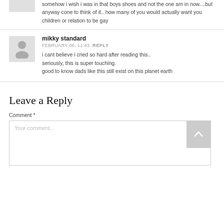somehow i wish i was in that boys shoes and not the one am in now....but anyway cone to think of it.. how many of you would actually want you children or relation to be gay
[Figure (illustration): User avatar placeholder - grey silhouette icon on light grey background]
mikky standard
FEBRUARY 06, 11:43  REPLY
i cant believe i cried so hard after reading this..
seriously, this is super touching.
good to know dads like this still exist on this planet earth
Leave a Reply
Comment *
Your comment..